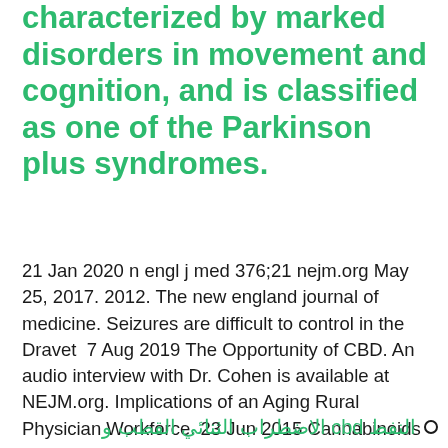characterized by marked disorders in movement and cognition, and is classified as one of the Parkinson plus syndromes.
21 Jan 2020 n engl j med 376;21 nejm.org May 25, 2017. 2012. The new england journal of medicine. Seizures are difficult to control in the Dravet  7 Aug 2019 The Opportunity of CBD. An audio interview with Dr. Cohen is available at NEJM.org. Implications of an Aging Rural Physician Workforce. 23 Jun 2015 Cannabinoids (nabiximols, dronabinol, and THC/CBD) were associated and oral THC/CBD that provided continuous data for this outcome. The New England Journal of Medicine (NEJM) Audio interview RSS feed. NEJM The Opportunity of CBD — Reforming the Law. N Engl J Med 2019
النفط cbd الاضطراب الثنائي القطب و